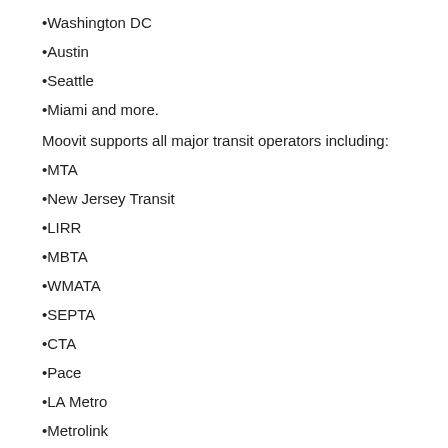•Washington DC
•Austin
•Seattle
•Miami and more.
Moovit supports all major transit operators including:
•MTA
•New Jersey Transit
•LIRR
•MBTA
•WMATA
•SEPTA
•CTA
•Pace
•LA Metro
•Metrolink